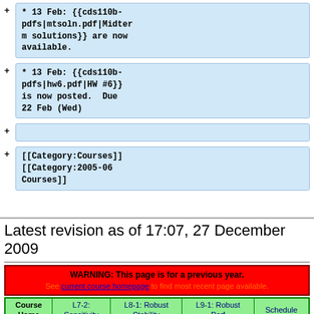+ * 13 Feb: {{cds110b-pdfs|mtsoln.pdf|Midterm solutions}} are now available.
+ * 13 Feb: {{cds110b-pdfs|hw6.pdf|HW #6}} is now posted.  Due 22 Feb (Wed)
+
+ [[Category:Courses]] [[Category:2005-06 Courses]]
Latest revision as of 17:07, 27 December 2009
WARNING: This page is for a previous year.
See current course homepage to find most recent page available.
| Course Home | L7-2: Sensitivity | L8-1: Robust Stability | L9-1: Robust Perf | Schedule |
| --- | --- | --- | --- | --- |